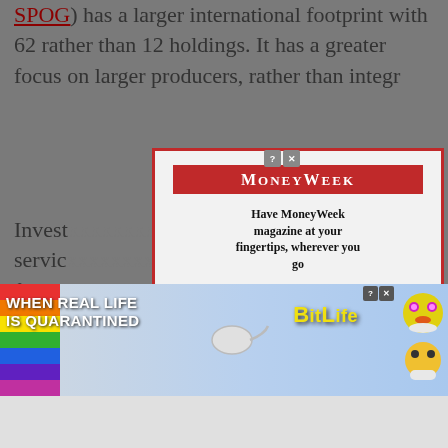SPOG) has a larger international footprint with 62 rather than 12 holdings. It has a greater focus on larger producers, rather than integr...
Investe... ing oil service... fluctua... will always... ck Oil Servic... the perfo... olved in oil s...
[Figure (other): MoneyWeek magazine modal popup overlay with red border. Contains MoneyWeek logo in red, tagline 'Have MoneyWeek magazine at your fingertips, wherever you go', a horizontal divider, and 'TRY A DIGITAL SUBSCRIPTION' call-to-action text.]
[Figure (other): BitLife advertisement banner with rainbow stripe on left, text 'WHEN REAL LIFE IS QUARANTINED', BitLife logo with yellow text, and cartoon emoji-style characters on the right.]